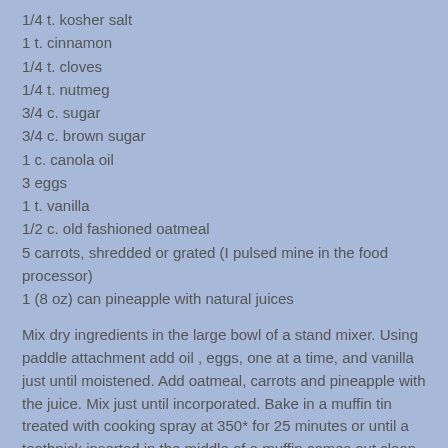1/4 t. kosher salt
1 t. cinnamon
1/4 t. cloves
1/4 t. nutmeg
3/4 c. sugar
3/4 c. brown sugar
1 c. canola oil
3 eggs
1 t. vanilla
1/2 c. old fashioned oatmeal
5 carrots, shredded or grated (I pulsed mine in the food processor)
1 (8 oz) can pineapple with natural juices
Mix dry ingredients in the large bowl of a stand mixer.  Using paddle attachment add oil , eggs, one at a time, and vanilla just until moistened. Add oatmeal, carrots and pineapple with the juice.  Mix just until incorporated.  Bake in a muffin tin treated with cooking spray at 350* for 25 minutes or until a toothpick inserted in the middle of a muffin comes out clean.  Print Recipe